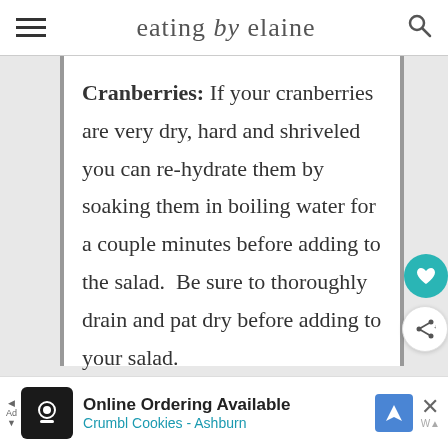eating by elaine
Cranberries: If your cranberries are very dry, hard and shriveled you can re-hydrate them by soaking them in boiling water for a couple minutes before adding to the salad.  Be sure to thoroughly drain and pat dry before adding to your salad.
[Figure (screenshot): Advertisement banner: Online Ordering Available - Crumbl Cookies - Ashburn]